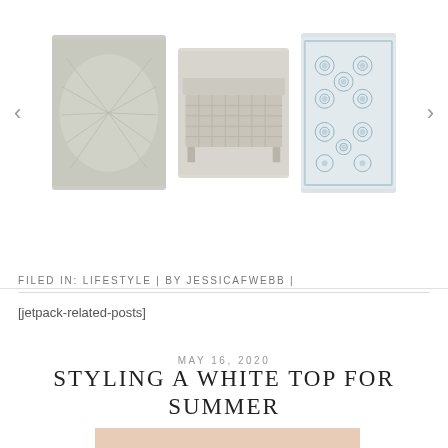[Figure (photo): Product carousel showing three items: a grey textured pillow, a wicker/rattan coffee table, and a blue floral rug. Left and right navigation arrows on the sides.]
FILED IN: LIFESTYLE | BY JESSICAFWEBB |
[jetpack-related-posts]
MAY 16, 2020
STYLING A WHITE TOP FOR SUMMER
[Figure (photo): Partial photo of a woman with blonde hair against a pink/blush background, cropped at bottom of page.]